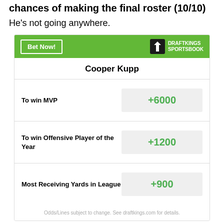chances of making the final roster (10/10)
He's not going anywhere.
[Figure (infographic): DraftKings Sportsbook widget showing Cooper Kupp betting odds: To win MVP +6000, To win Offensive Player of the Year +1200, Most Receiving Yards in League +900]
IN THIS STREAM